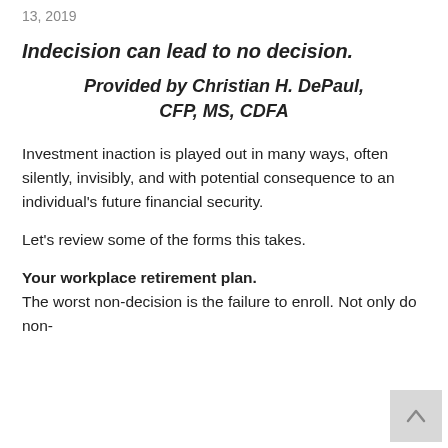13, 2019
Indecision can lead to no decision.
Provided by Christian H. DePaul, CFP, MS, CDFA
Investment inaction is played out in many ways, often silently, invisibly, and with potential consequence to an individual's future financial security.
Let’s review some of the forms this takes.
Your workplace retirement plan.
The worst non-decision is the failure to enroll. Not only do non-